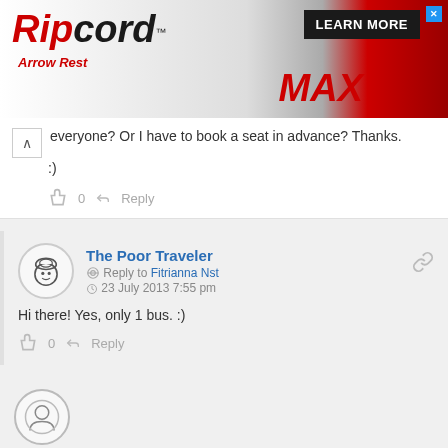[Figure (screenshot): Ripcord Arrow Rest MAX advertisement banner with Learn More button]
everyone? Or I have to book a seat in advance? Thanks. :)
0  Reply
The Poor Traveler
Reply to Fitrianna Nst
23 July 2013 7:55 pm
Hi there! Yes, only 1 bus. :)
0  Reply